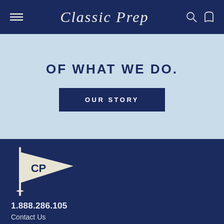Classic Prep
OF WHAT WE DO.
OUR STORY
[Figure (logo): Classic Prep CP pennant flag logo in cream/off-white on dark navy background]
1.888.286.105
Contact Us
[Figure (illustration): Social media icons: Facebook, Pinterest, Instagram]
For Our Customers
Gift Cards